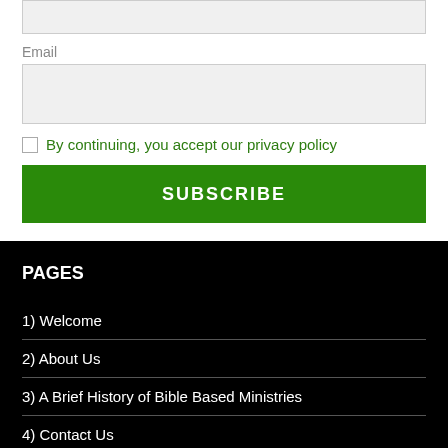Email
By continuing, you accept our privacy policy
SUBSCRIBE
PAGES
1) Welcome
2) About Us
3) A Brief History of Bible Based Ministries
4) Contact Us